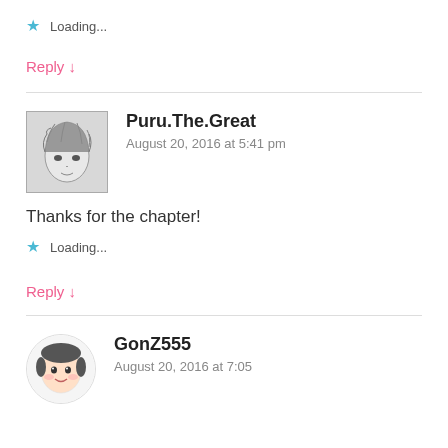Loading...
Reply ↓
Puru.The.Great
August 20, 2016 at 5:41 pm
Thanks for the chapter!
Loading...
Reply ↓
GonZ555